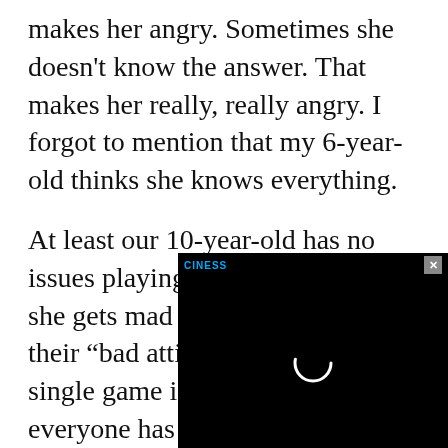makes her angry. Sometimes she doesn't know the answer. That makes her really, really angry. I forgot to mention that my 6-year-old thinks she knows everything.
At least our 10-year-old has no issues playing the game though she gets mad at the other kids and their "bad attitudes." By the time a single game is over, it seems like everyone has either cried or shouted or gotten mad at Dad for getting all the answers right.
Then everyone beg... Immediately. Why...
[Figure (screenshot): A black video player overlay in the bottom-right corner with a CINESS logo in blue text, an X close button in grey, and a loading spinner (white circle arc) centered on the black screen.]